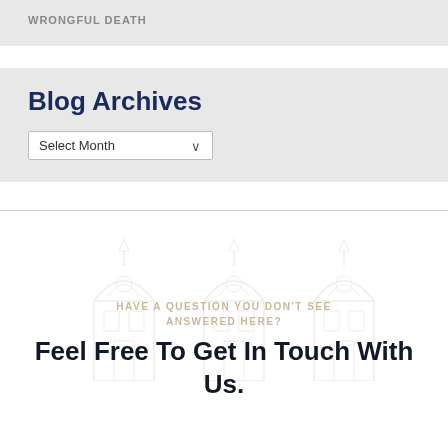WRONGFUL DEATH
Blog Archives
Select Month
HAVE A QUESTION YOU DON'T SEE ANSWERED HERE?
Feel Free To Get In Touch With Us.